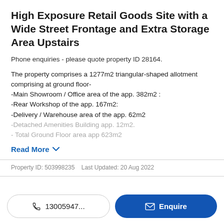High Exposure Retail Goods Site with a Wide Street Frontage and Extra Storage Area Upstairs
Phone enquiries - please quote property ID 28164.
The property comprises a 1277m2 triangular-shaped allotment comprising at ground floor-
-Main Showroom / Office area of the app. 382m2 :
-Rear Workshop of the app. 167m2:
-Delivery / Warehouse area of the app. 62m2
-Detached Amenities Building app. 12m2.
- Total Ground Floor area app 623m2
Read More
Property ID: 503998235   Last Updated: 20 Aug 2022
13005947...
Enquire